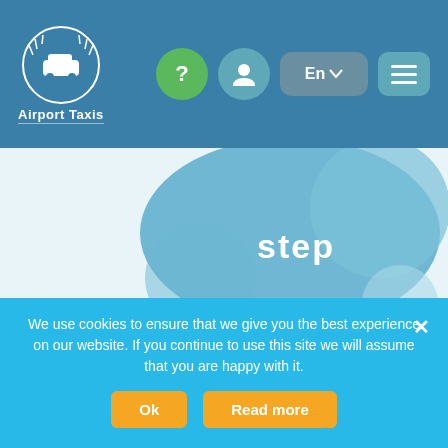[Figure (logo): Airport Taxis logo with white taxi icon in a laurel wreath circle and text 'Airport Taxis' below]
[Figure (screenshot): Navigation bar with green question mark button, teal user profile button, language selector showing 'En' with dropdown arrow, and teal hamburger menu button]
step
[Figure (illustration): Decorative blue bubbles/circles of varying sizes and shades on a light blue background]
The shown price is all in. Waiting time, parking, VAT. Click on Book now in case if you agree with the quote.
We use cookies to ensure that we give you the best experience on our website. If you continue to use this site we will assume that you are happy with it.